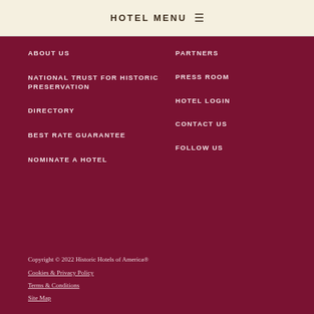HOTEL MENU ☰
ABOUT US
NATIONAL TRUST FOR HISTORIC PRESERVATION
DIRECTORY
BEST RATE GUARANTEE
NOMINATE A HOTEL
PARTNERS
PRESS ROOM
HOTEL LOGIN
CONTACT US
FOLLOW US
Copyright © 2022 Historic Hotels of America®
Cookies & Privacy Policy
Terms & Conditions
Site Map